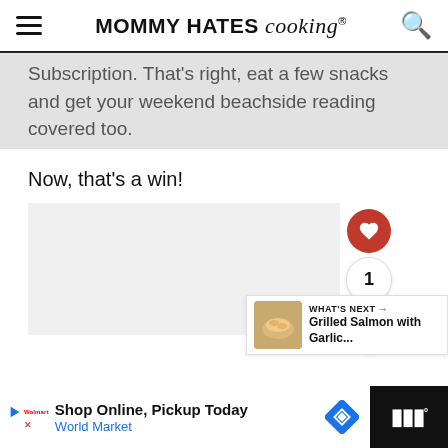MOMMY HATES cooking®
Subscription. That's right, eat a few snacks and get your weekend beachside reading covered too.
Now, that's a win!
[Figure (other): Gray image placeholder area with floating heart/share action buttons and a 'What's Next' preview showing Grilled Salmon with Garlic...]
Shop Online, Pickup Today World Market [advertisement]